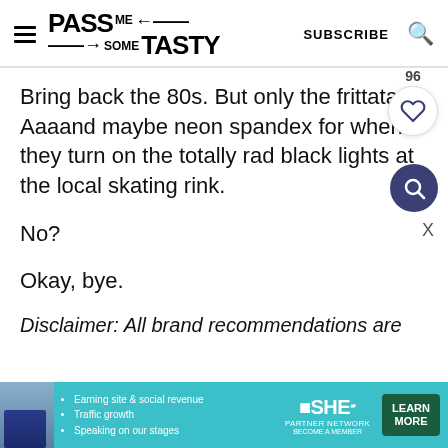PASS ME SOME TASTY | SUBSCRIBE
Bring back the 80s. But only the frittatas. Aaaand maybe neon spandex for when they turn on the totally rad black lights at the local skating rink.
No?
Okay, bye.
Disclaimer: All brand recommendations are
[Figure (other): SHE Partner Network advertisement banner with photo of woman, bullet points about earning site & social revenue, traffic growth, speaking on our stages, and a Learn More button]